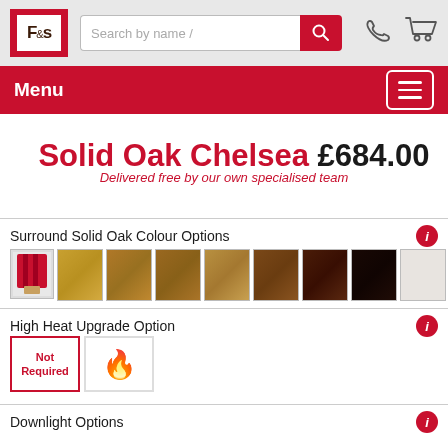F&S | Search by name /
Menu
Solid Oak Chelsea £684.00
Delivered free by our own specialised team
Surround Solid Oak Colour Options
[Figure (illustration): Row of 9 colour swatches for solid oak surround: paint brush icon (custom), then 8 wood colour samples ranging from light golden oak to dark espresso and white/unfinished]
High Heat Upgrade Option
[Figure (illustration): Two option buttons: 'Not Required' with red border text, and a fire/flame icon button]
Downlight Options